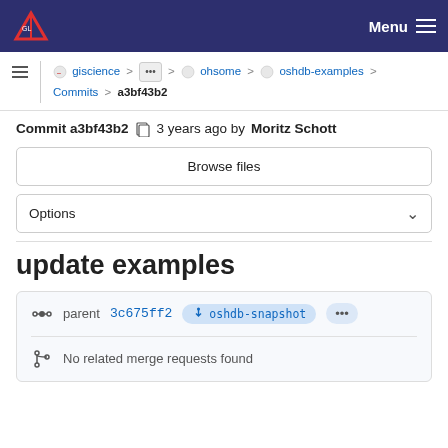Menu
giscience > ... > ohsome > oshdb-examples > Commits > a3bf43b2
Commit a3bf43b2   3 years ago by Moritz Schott
Browse files
Options
update examples
parent 3c675ff2  oshdb-snapshot  ...
No related merge requests found